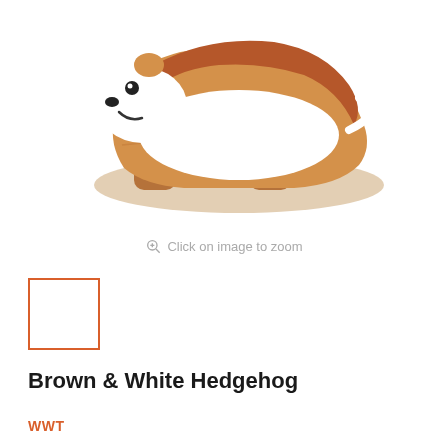[Figure (photo): Wooden painted hedgehog toy figure in brown and white, shown in profile facing right, with cartoon-style face]
Click on image to zoom
[Figure (thumbnail): Small thumbnail box with orange border showing the hedgehog product image]
Brown & White Hedgehog
WWT